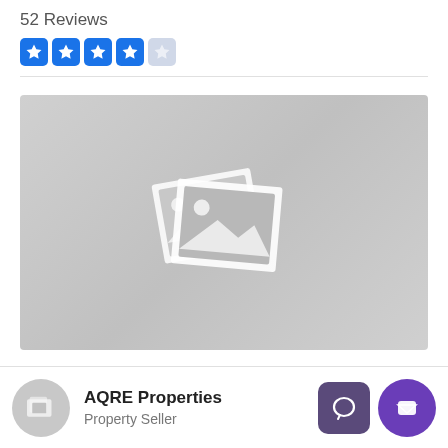52 Reviews
[Figure (other): Five star rating display: 4 filled blue star boxes and 1 empty/light blue star box]
[Figure (photo): Gray placeholder image with a white image/photo placeholder icon showing two overlapping picture frames with a sun and mountains]
AQRE Properties
Property Seller